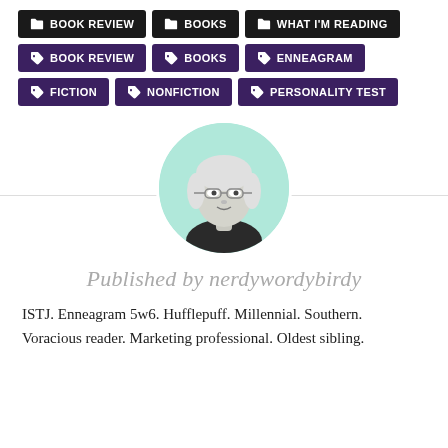BOOK REVIEW
BOOKS
WHAT I'M READING
BOOK REVIEW
BOOKS
ENNEAGRAM
FICTION
NONFICTION
PERSONALITY TEST
[Figure (photo): Circular profile photo of a young woman with glasses, shown in a teal/green-tinted black and white style]
Published by nerdywordybirdy
ISTJ. Enneagram 5w6. Hufflepuff. Millennial. Southern. Voracious reader. Marketing professional. Oldest sibling.